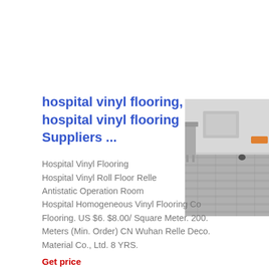hospital vinyl flooring, hospital vinyl flooring Suppliers ...
[Figure (photo): Photo of hospital vinyl flooring showing grey striped floor tiles in a room with furniture]
Hospital Vinyl Flooring Hospital Vinyl Roll Floor Relle Antistatic Operation Room Hospital Homogeneous Vinyl Flooring Co Flooring. US $6. $8.00/ Square Meter. 200. Meters (Min. Order) CN Wuhan Relle Deco. Material Co., Ltd. 8 YRS.
Get price